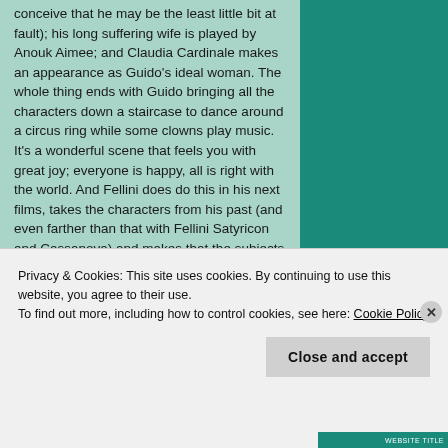conceive that he may be the least little bit at fault); his long suffering wife is played by Anouk Aimee; and Claudia Cardinale makes an appearance as Guido's ideal woman. The whole thing ends with Guido bringing all the characters down a staircase to dance around a circus ring while some clowns play music. It's a wonderful scene that feels you with great joy; everyone is happy, all is right with the world. And Fellini does do this in his next films, takes the characters from his past (and even farther than that with Fellini Satyricon and Cassanova) and makes that the subjects of his films. What else can he do? He can't come up with an original
Privacy & Cookies: This site uses cookies. By continuing to use this website, you agree to their use.
To find out more, including how to control cookies, see here: Cookie Policy